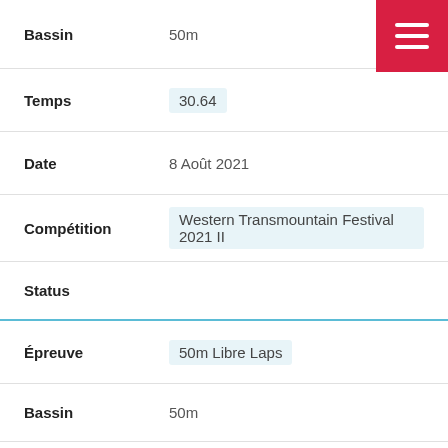Bassin: 50m
Temps: 30.64
Date: 8 Août 2021
Compétition: Western Transmountain Festival 2021 II
Status
Épreuve: 50m Libre Laps
Bassin: 50m
Temps: 28.59